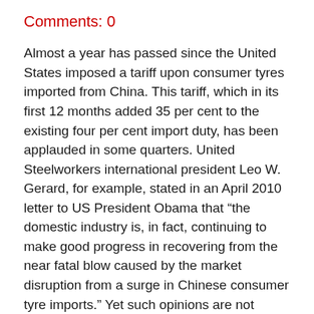Comments: 0
Almost a year has passed since the United States imposed a tariff upon consumer tyres imported from China. This tariff, which in its first 12 months added 35 per cent to the existing four per cent import duty, has been applauded in some quarters. United Steelworkers international president Leo W. Gerard, for example, stated in an April 2010 letter to US President Obama that “the domestic industry is, in fact, continuing to make good progress in recovering from the near fatal blow caused by the market disruption from a surge in Chinese consumer tyre imports.” Yet such opinions are not universal. As the tariff’s first anniversary approaches, the US-China Business Council (USCBC) has also drafted its own letter to the President, in which it states it “has found no evidence that the tariffs on low-end Chinese tyres have had a positive effect on American jobs, and we